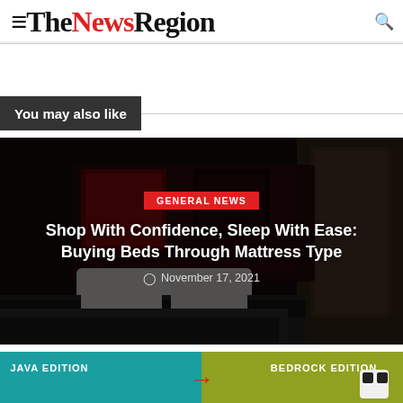TheNewsRegion
You may also like
[Figure (photo): Hotel bedroom with white bedding, dark headboard, and red artwork on wall, with overlay text for article card]
GENERAL NEWS
Shop With Confidence, Sleep With Ease: Buying Beds Through Mattress Type
November 17, 2021
[Figure (screenshot): Partial view of Java Edition and Bedrock Edition comparison graphic]